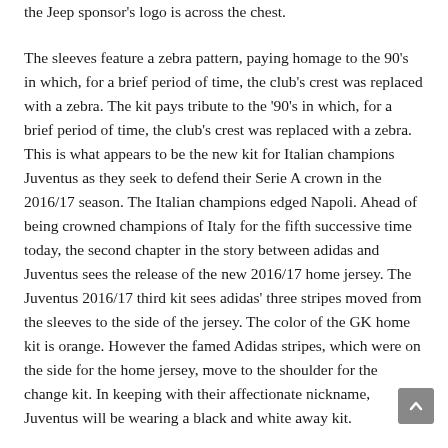the Jeep sponsor's logo is across the chest.
The sleeves feature a zebra pattern, paying homage to the 90's in which, for a brief period of time, the club's crest was replaced with a zebra. The kit pays tribute to the '90's in which, for a brief period of time, the club's crest was replaced with a zebra. This is what appears to be the new kit for Italian champions Juventus as they seek to defend their Serie A crown in the 2016/17 season. The Italian champions edged Napoli. Ahead of being crowned champions of Italy for the fifth successive time today, the second chapter in the story between adidas and Juventus sees the release of the new 2016/17 home jersey. The Juventus 2016/17 third kit sees adidas' three stripes moved from the sleeves to the side of the jersey. The color of the GK home kit is orange. However the famed Adidas stripes, which were on the side for the home jersey, move to the shoulder for the change kit. In keeping with their affectionate nickname, Juventus will be wearing a black and white away kit.